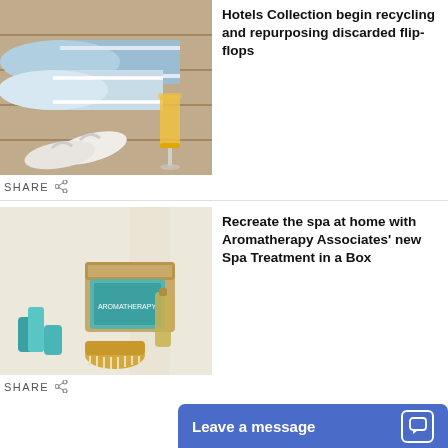[Figure (photo): Photo of rolled blue and white towels, white flip-flops, and an orange juice drink on a wooden surface]
Hotels Collection begin recycling and repurposing discarded flip-flops
SHARE
[Figure (photo): Photo of Aromatherapy Associates spa products in teal packaging, a body brush, and oil bottles arranged on a light surface]
Recreate the spa at home with Aromatherapy Associates' new Spa Treatment in a Box
SHARE
Leave a message